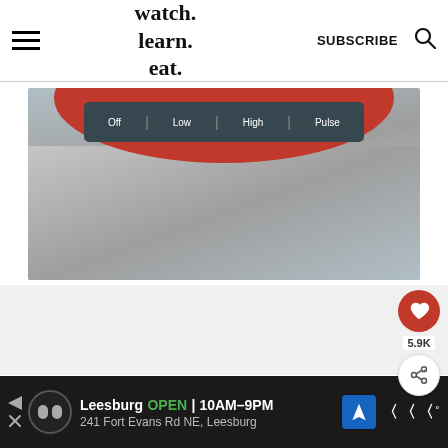watch. learn. eat. | SUBSCRIBE
[Figure (photo): Close-up of a red blender base with a dark control panel showing Off, Low, High, Pulse settings, on a wooden/grey surface background]
5.9K
WHAT'S NEXT → Buffalo Chickpea...
Leesburg OPEN 10AM–9PM | 241 Fort Evans Rd NE, Leesburg